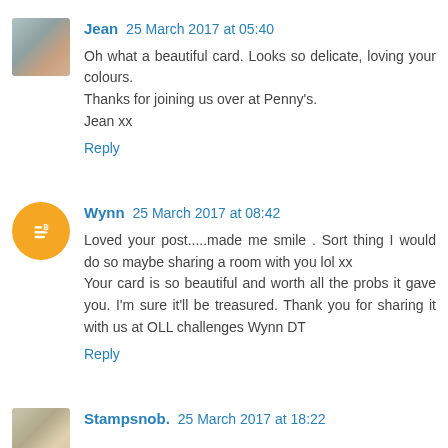Jean 25 March 2017 at 05:40
Oh what a beautiful card. Looks so delicate, loving your colours.
Thanks for joining us over at Penny's.
Jean xx
Reply
Wynn 25 March 2017 at 08:42
Loved your post.....made me smile . Sort thing I would do so maybe sharing a room with you lol xx
Your card is so beautiful and worth all the probs it gave you. I'm sure it'll be treasured. Thank you for sharing it with us at OLL challenges Wynn DT
Reply
Stampsnob. 25 March 2017 at 18:22